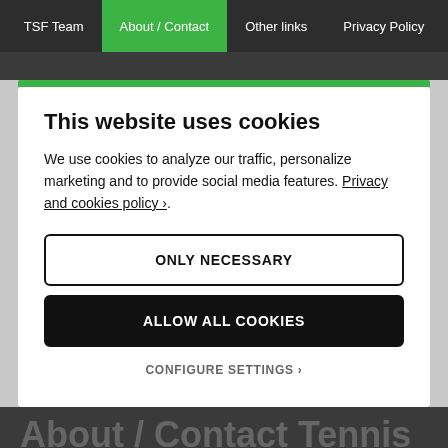TSF Team | About / Contact | Other links | Privacy Policy
This website uses cookies
We use cookies to analyze our traffic, personalize marketing and to provide social media features. Privacy and cookies policy ›.
ONLY NECESSARY
ALLOW ALL COOKIES
CONFIGURE SETTINGS ›
About / Contact Tennis